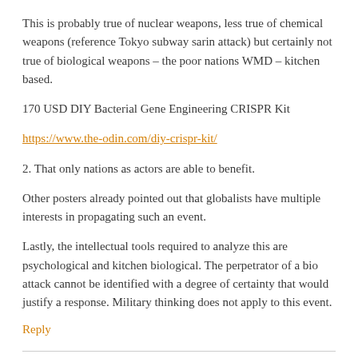This is probably true of nuclear weapons, less true of chemical weapons (reference Tokyo subway sarin attack) but certainly not true of biological weapons – the poor nations WMD – kitchen based.
170 USD DIY Bacterial Gene Engineering CRISPR Kit
https://www.the-odin.com/diy-crispr-kit/
2. That only nations as actors are able to benefit.
Other posters already pointed out that globalists have multiple interests in propagating such an event.
Lastly, the intellectual tools required to analyze this are psychological and kitchen biological. The perpetrator of a bio attack cannot be identified with a degree of certainty that would justify a response. Military thinking does not apply to this event.
Reply
vot tak  on March 15, 2020 · at 1:08 am EST/EDT
Runs of products in stores, some 1/3 empty, in maryland, usa, but